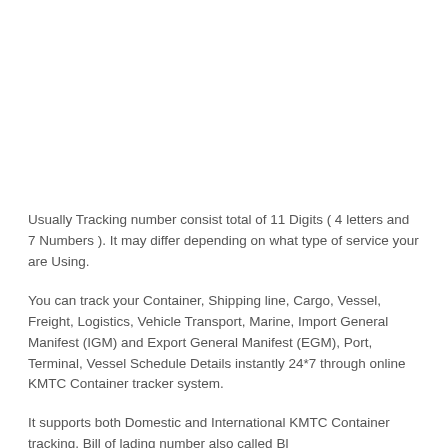Usually Tracking number consist total of 11 Digits ( 4 letters and 7 Numbers ). It may differ depending on what type of service your are Using.
You can track your Container, Shipping line, Cargo, Vessel, Freight, Logistics, Vehicle Transport, Marine, Import General Manifest (IGM) and Export General Manifest (EGM), Port, Terminal, Vessel Schedule Details instantly 24*7 through online KMTC Container tracker system.
It supports both Domestic and International KMTC Container tracking. Bill of lading number also called BL...